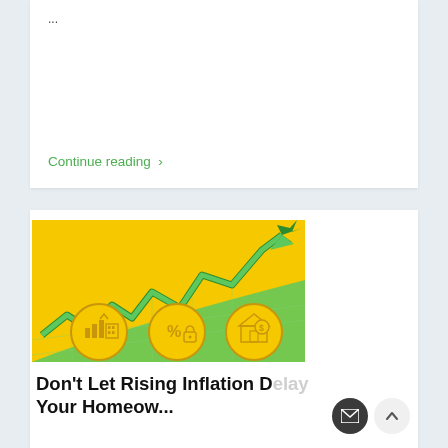...
Continue reading ›
[Figure (illustration): Inflation/real estate illustration: yellow background with green zigzag rising arrow chart, three gold circular icons showing bar chart with building, percent lock symbol, and house with dollar sign]
Don't Let Rising Inflation Delay Your Homeow...